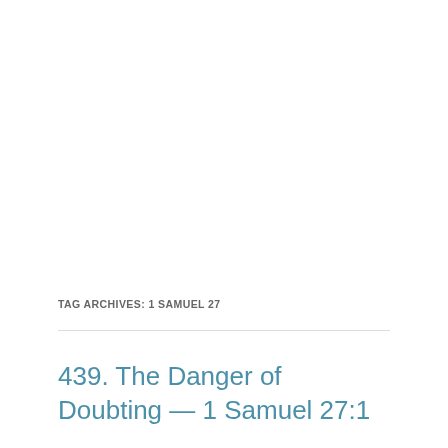TAG ARCHIVES: 1 SAMUEL 27
439. The Danger of Doubting — 1 Samuel 27:1